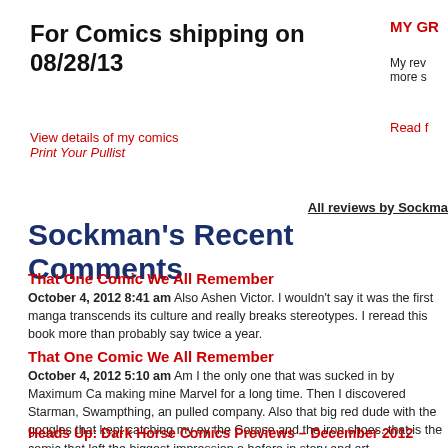For Comics shipping on 08/28/13
View details of my comics
Print Your Pullist
All reviews by Sockman
Sockman's Recent Comments
That One Comic We All Remember
October 4, 2012 8:41 am Also Ashen Victor. I wouldn't say it was the first manga transcends its culture and really breaks stereotypes. I reread this book more than probably say twice a year.
That One Comic We All Remember
October 4, 2012 5:10 am Am I the only one that was sucked in by Maximum Ca making mine Marvel for a long time. Then I discovered Starman, Swampthing, an pulled company. Also that big red dude with the goggles that kept catching my ey the Corpse and the iron shoes. that is the comic that left the biggest impression o before in story and art.
Heads Up: Dark Horse Comics Previews – December 2012
September 23, 2012 12:15 am Mignola's excitement in recent interviews abou